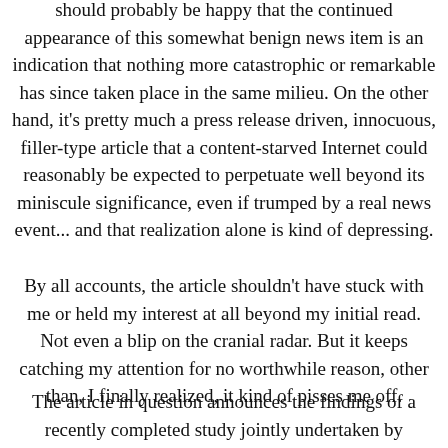should probably be happy that the continued appearance of this somewhat benign news item is an indication that nothing more catastrophic or remarkable has since taken place in the same milieu. On the other hand, it's pretty much a press release driven, innocuous, filler-type article that a content-starved Internet could reasonably be expected to perpetuate well beyond its miniscule significance, even if trumped by a real news event... and that realization alone is kind of depressing.
By all accounts, the article shouldn't have stuck with me or held my interest at all beyond my initial read. Not even a blip on the cranial radar. But it keeps catching my attention for no worthwhile reason, other than, I finally realized, it kind of pisses me off.
The article in question announces the findings of a recently completed study jointly undertaken by Princeton and Northwestern universities. A renowned and